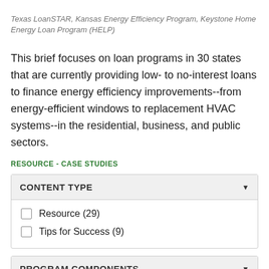Texas LoanSTAR, Kansas Energy Efficiency Program, Keystone Home Energy Loan Program (HELP)
This brief focuses on loan programs in 30 states that are currently providing low- to no-interest loans to finance energy efficiency improvements--from energy-efficient windows to replacement HVAC systems--in the residential, business, and public sectors.
RESOURCE - CASE STUDIES
CONTENT TYPE (filter dropdown)
Resource (29)
Tips for Success (9)
PROGRAM COMPONENTS (filter dropdown)